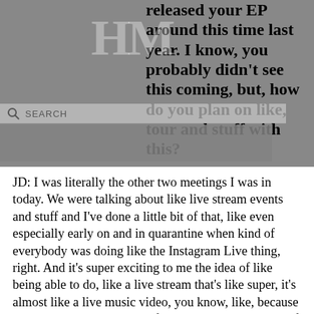released your EP around this time last year. I know, you probably didn't see this coming, but, how do you plan on like, tour and stuff with this?
JD: I was literally the other two meetings I was in today. We were talking about like live stream events and stuff and I've done a little bit of that, like even especially early on and in quarantine when kind of everybody was doing like the Instagram Live thing, right. And it's super exciting to me the idea of like being able to do, like a live stream that's like super, it's almost like a live music video, you know, like, because it's something that you can film, you can curate kind of every aspect of it and make it look you know, like